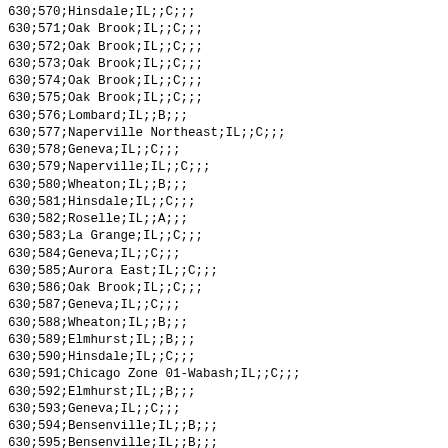630;570;Hinsdale;IL;;C;;;
630;571;Oak Brook;IL;;C;;;
630;572;Oak Brook;IL;;C;;;
630;573;Oak Brook;IL;;C;;;
630;574;Oak Brook;IL;;C;;;
630;575;Oak Brook;IL;;C;;;
630;576;Lombard;IL;;B;;;
630;577;Naperville Northeast;IL;;C;;;
630;578;Geneva;IL;;C;;;
630;579;Naperville;IL;;C;;;
630;580;Wheaton;IL;;B;;;
630;581;Hinsdale;IL;;C;;;
630;582;Roselle;IL;;A;;;
630;583;La Grange;IL;;C;;;
630;584;Geneva;IL;;C;;;
630;585;Aurora East;IL;;C;;;
630;586;Oak Brook;IL;;C;;;
630;587;Geneva;IL;;C;;;
630;588;Wheaton;IL;;B;;;
630;589;Elmhurst;IL;;B;;;
630;590;Hinsdale;IL;;C;;;
630;591;Chicago Zone 01-Wabash;IL;;C;;;
630;592;Elmhurst;IL;;B;;;
630;593;Geneva;IL;;C;;;
630;594;Bensenville;IL;;B;;;
630;595;Bensenville;IL;;B;;;
630;596;Naperville;IL;;C;;;
630;597;Wheaton;IL;;B;;;
630;598;Downers Grove;IL;;C;;;
630;599;Lombard;IL;;B;;;